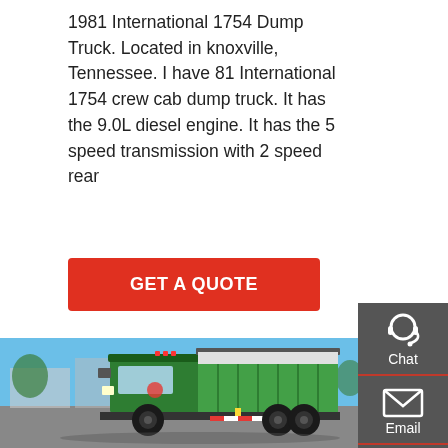1981 International 1754 Dump Truck. Located in knoxville, Tennessee. I have 81 International 1754 crew cab dump truck. It has the 9.0L diesel engine. It has the 5 speed transmission with 2 speed rear
[Figure (other): Red GET A QUOTE button]
[Figure (photo): Photo of a green HOWO dump truck parked in a yard with blue sky background]
[Figure (infographic): Dark grey side panel with Chat (headset icon), Email (envelope icon), and Contact (speech bubble icon) options separated by red dividers]